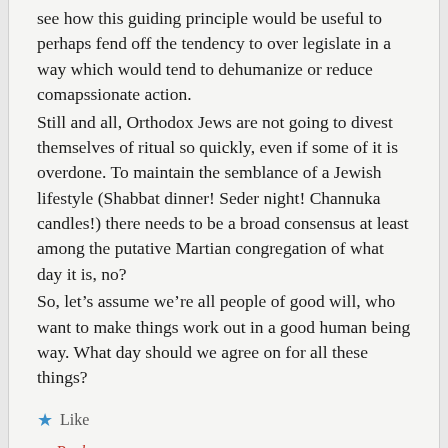see how this guiding principle would be useful to perhaps fend off the tendency to over legislate in a way which would tend to dehumanize or reduce comapssionate action.
Still and all, Orthodox Jews are not going to divest themselves of ritual so quickly, even if some of it is overdone. To maintain the semblance of a Jewish lifestyle (Shabbat dinner! Seder night! Channuka candles!) there needs to be a broad consensus at least among the putative Martian congregation of what day it is, no?
So, let’s assume we’re all people of good will, who want to make things work out in a good human being way. What day should we agree on for all these things?
Like
Reply